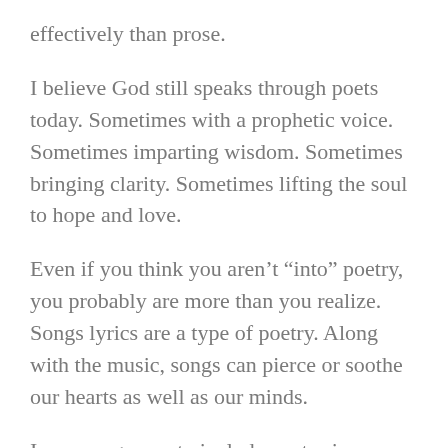effectively than prose.
I believe God still speaks through poets today. Sometimes with a prophetic voice. Sometimes imparting wisdom. Sometimes bringing clarity. Sometimes lifting the soul to hope and love.
Even if you think you aren’t “into” poetry, you probably are more than you realize. Songs lyrics are a type of poetry. Along with the music, songs can pierce or soothe our hearts as well as our minds.
I encourage you to include poetry in your